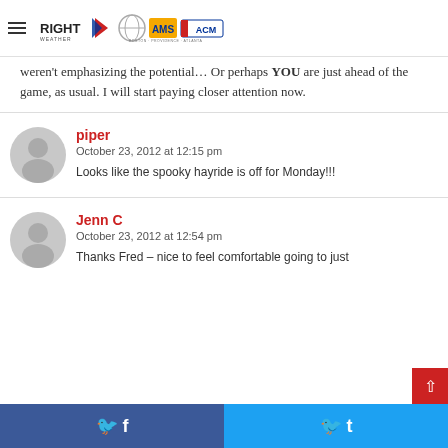RIGHT WEATHER | AMS | ACM logos and hamburger menu
weren’t emphasizing the potential… Or perhaps YOU are just ahead of the game, as usual. I will start paying closer attention now.
piper
October 23, 2012 at 12:15 pm
Looks like the spooky hayride is off for Monday!!!
Jenn C
October 23, 2012 at 12:54 pm
Thanks Fred – nice to feel comfortable going to just